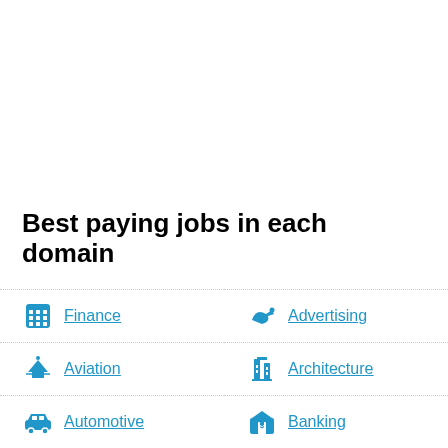Best paying jobs in each domain
Finance
Advertising
Aviation
Architecture
Automotive
Banking